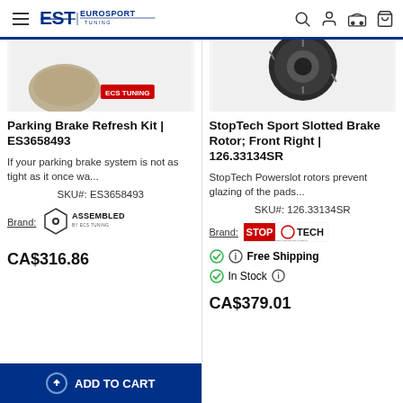EST Eurosport Tuning
[Figure (screenshot): Product image for Parking Brake Refresh Kit - partial view of brake component]
Parking Brake Refresh Kit | ES3658493
If your parking brake system is not as tight as it once wa...
SKU#: ES3658493
Brand: ASSEMBLED BY ECS TUNING
CA$316.86
ADD TO CART
[Figure (screenshot): Product image for StopTech Sport Slotted Brake Rotor - front right view]
StopTech Sport Slotted Brake Rotor; Front Right | 126.33134SR
StopTech Powerslot rotors prevent glazing of the pads...
SKU#: 126.33134SR
Brand: STOPTECH
Free Shipping
In Stock
CA$379.01